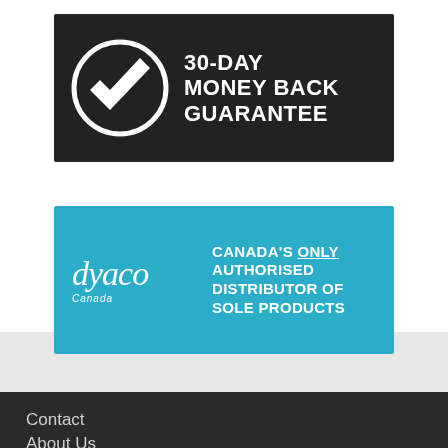[Figure (logo): 30-Day Money Back Guarantee badge with black background, white checkmark in circle, bold white text reading 30-DAY MONEY BACK GUARANTEE]
[Figure (logo): Dyaco Canada authorised distributor banner with teal/blue background, Dyaco Canada italic logo on left, white bold text on right reading CANADA'S ONLY AUTHORISED DISTRIBUTOR OF SOLE PRODUCTS]
Contact
About Us
FAQs
Shipping/Returns
SOLE Guarantee